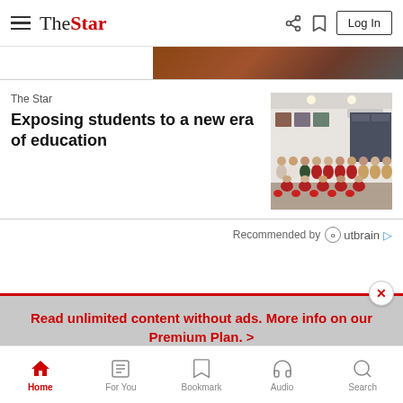The Star — Log In
[Figure (photo): Partial image of people visible at top right corner]
The Star
Exposing students to a new era of education
[Figure (photo): Group photo of students and staff wearing masks and red lanyards in a room with framed pictures on walls]
Recommended by Outbrain
Read unlimited content without ads. More info on our Premium Plan. >
Home | For You | Bookmark | Audio | Search